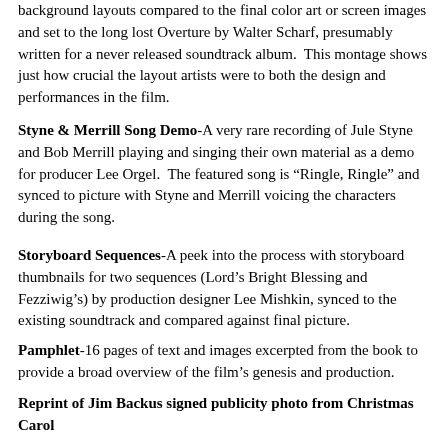background layouts compared to the final color art or screen images and set to the long lost Overture by Walter Scharf, presumably written for a never released soundtrack album.  This montage shows just how crucial the layout artists were to both the design and performances in the film.
Styne & Merrill Song Demo-A very rare recording of Jule Styne and Bob Merrill playing and singing their own material as a demo for producer Lee Orgel.  The featured song is “Ringle, Ringle” and synced to picture with Styne and Merrill voicing the characters during the song.
Storyboard Sequences-A peek into the process with storyboard thumbnails for two sequences (Lord’s Bright Blessing and Fezziwig’s) by production designer Lee Mishkin, synced to the existing soundtrack and compared against final picture.
Pamphlet-16 pages of text and images excerpted from the book to provide a broad overview of the film’s genesis and production.
Reprint of Jim Backus signed publicity photo from Christmas Carol
The remastered DVD is scheduled to be released Nov. 16, 2010 and you can pre-order it here.